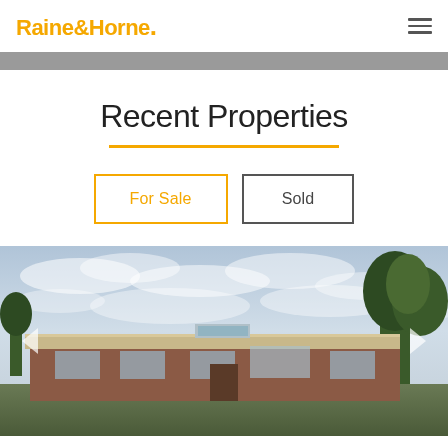Raine&Horne.
Recent Properties
For Sale
Sold
[Figure (photo): Exterior photo of a residential property with a flat/low-pitched roof, red/brown brick facade, surrounded by trees under a cloudy sky. Navigation arrows visible on left and right edges.]